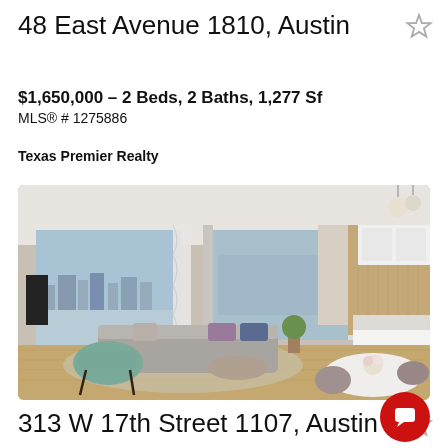48 East Avenue 1810, Austin
$1,650,000 – 2 Beds, 2 Baths, 1,277 Sf
MLS® # 1275886
Texas Premier Realty
[Figure (photo): Interior rendering of a modern luxury condominium showing open-plan living room with floor-to-ceiling windows overlooking Austin skyline, grey sofas, teal accent chair, dining table, and kitchen island with bar stools and pendant lighting.]
313 W 17th Street 1107, Austin